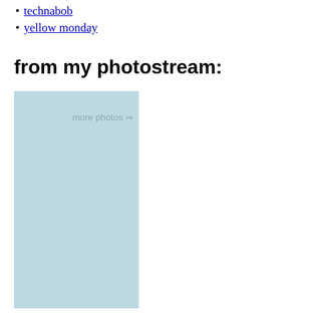technabob
yellow monday
from my photostream:
[Figure (other): Light blue/teal colored rectangular photo placeholder box with 'more photos ⇒' link text in the upper right area]